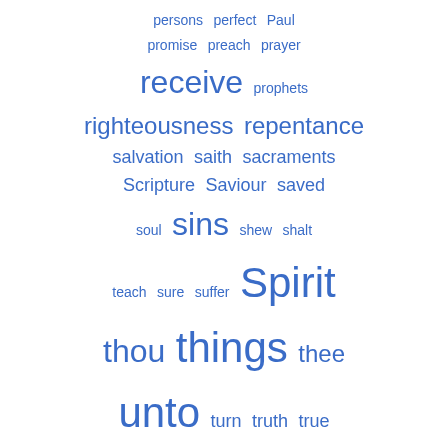[Figure (other): Word cloud in blue with varying font sizes showing biblical/religious index terms: persons, perfect, Paul, promise, preach, prayer, receive, prophets, righteousness, repentance, salvation, saith, sacraments, Scripture, Saviour, saved, soul, sins, shew, shalt, teach, sure, suffer, Spirit, thou, things, thee, unto, turn, truth, true, xxviii, whole, whereby, viii]
קטעים בולטים
... neither - עמוד 202
said any of them that ought of the things which he possessed was his